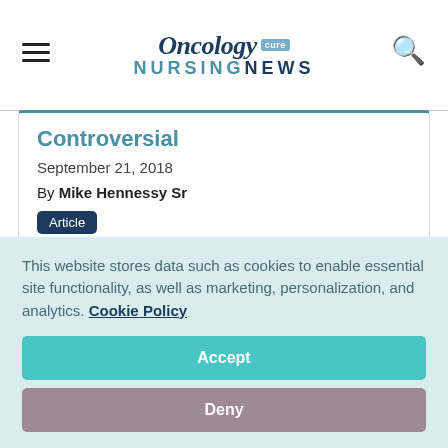Oncology Nursing News
Controversial
September 21, 2018
By Mike Hennessy Sr
Article
This letter from the Chairman and CEO of Oncology Nursing News gives an overview of the contents of the September 2018 print issue of the magazine.
This website stores data such as cookies to enable essential site functionality, as well as marketing, personalization, and analytics. Cookie Policy
Accept
Deny